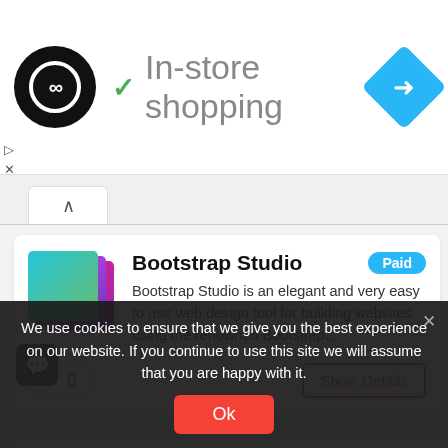[Figure (screenshot): Black circular logo with infinity-like symbol inside white ring]
✓ In-store shopping
[Figure (logo): Blue diamond-shaped navigation/directions icon]
[Figure (logo): Bootstrap Studio colorful layered squares logo]
Bootstrap Studio
Paid
Bootstrap Studio is an elegant and very easy to use web design tool for building websites using the renowned Bootstrap...
♡ 0
Show Details
[Figure (logo): Antetype orange circular logo with A symbol]
Antetype
Paid
ANTETYPE is an award winning groundbreaking design application that supports user interface designers at every step of their wo...
We use cookies to ensure that we give you the best experience on our website. If you continue to use this site we will assume that you are happy with it.
Ok